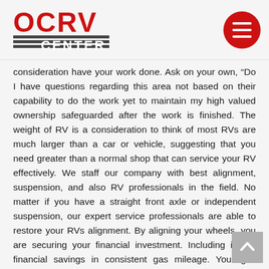OCRV CENTER logo and navigation menu button
consideration have your work done. Ask on your own, “Do I have questions regarding this area not based on their capability to do the work yet to maintain my high valued ownership safeguarded after the work is finished. The weight of RV is a consideration to think of most RVs are much larger than a car or vehicle, suggesting that you need greater than a normal shop that can service your RV effectively. We staff our company with best alignment, suspension, and also RV professionals in the field. No matter if you have a straight front axle or independent suspension, our expert service professionals are able to restore your RVs alignment. By aligning your wheels, you are securing your financial investment. Including in the financial savings in consistent gas mileage. Your gas mileage can be decreased as much as 10% by the drag caused because of negative positioning. Contact OCRV Today for all your RV Alignment needs.